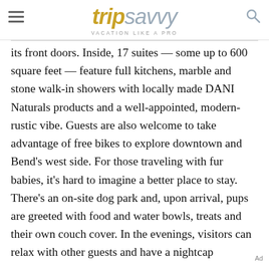tripsavvy VACATION LIKE A PRO
its front doors. Inside, 17 suites — some up to 600 square feet — feature full kitchens, marble and stone walk-in showers with locally made DANI Naturals products and a well-appointed, modern-rustic vibe. Guests are also welcome to take advantage of free bikes to explore downtown and Bend's west side. For those traveling with fur babies, it's hard to imagine a better place to stay. There's an on-site dog park and, upon arrival, pups are greeted with food and water bowls, treats and their own couch cover. In the evenings, visitors can relax with other guests and have a nightcap